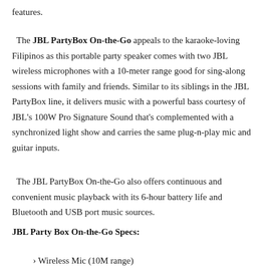features.
The JBL PartyBox On-the-Go appeals to the karaoke-loving Filipinos as this portable party speaker comes with two JBL wireless microphones with a 10-meter range good for sing-along sessions with family and friends. Similar to its siblings in the JBL PartyBox line, it delivers music with a powerful bass courtesy of JBL's 100W Pro Signature Sound that's complemented with a synchronized light show and carries the same plug-n-play mic and guitar inputs.
The JBL PartyBox On-the-Go also offers continuous and convenient music playback with its 6-hour battery life and Bluetooth and USB port music sources.
JBL Party Box On-the-Go Specs:
› Wireless Mic (10M range)